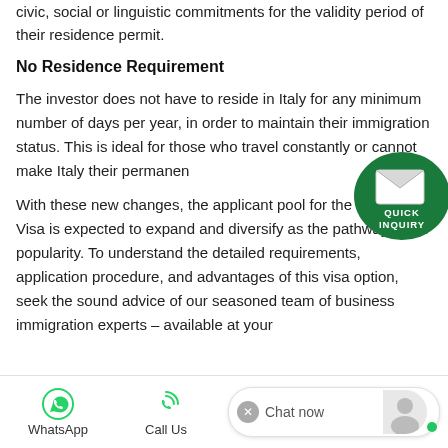civic, social or linguistic commitments for the validity period of their residence permit.
No Residence Requirement
The investor does not have to reside in Italy for any minimum number of days per year, in order to maintain their immigration status. This is ideal for those who travel constantly or cannot make Italy their permanent…
[Figure (other): Quick Inquiry button — circular green speech bubble with envelope icon and text QUICK INQUIRY]
With these new changes, the applicant pool for the Investor Visa is expected to expand and diversify as the pathway gains popularity. To understand the detailed requirements, application procedure, and advantages of this visa option, seek the sound advice of our seasoned team of business immigration experts – available at your
WhatsApp  Call Us  Chat now